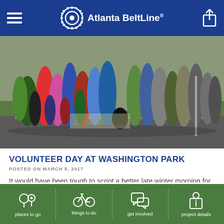Atlanta BeltLine
[Figure (photo): Large group of volunteers and community members gathered outdoors on a paved path at Washington Park, standing in a semi-circle, various ages and children visible, sunny winter morning]
VOLUNTEER DAY AT WASHINGTON PARK
POSTED ON MARCH 8, 2017
It would have been tough to script a better late winter morning for a volunteer clean-up than what our group was lucky enough to
places to go   things to do   get involved   project details